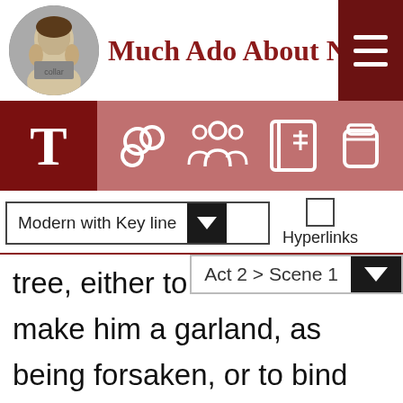Much Ado About Nothing
[Figure (screenshot): Navigation toolbar with T icon and icons for text settings, characters, scene guide, and storage]
Modern with Key line
Hyperlinks
Act 2 > Scene 1
tree, either to make him a garland, as being forsaken, or to bind him up a rod, as being worthy to be whipped.
DON PEDRO